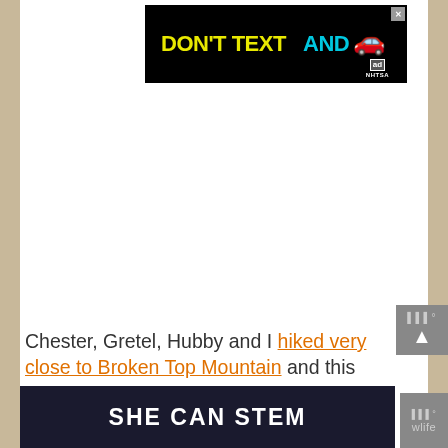[Figure (screenshot): Advertisement banner with black background. Yellow bold text 'DON'T TEXT AND' followed by cyan 'AND', a red car emoji, and NHTSA ad logo. Close X button in top right corner.]
[Figure (screenshot): White blank content area, likely a placeholder for an image or embedded content.]
Chester, Gretel, Hubby and I hiked very close to Broken Top Mountain and this lake during our first trip to Bend.
[Figure (screenshot): Dark navy advertisement banner with bold white text reading 'SHE CAN STEM']